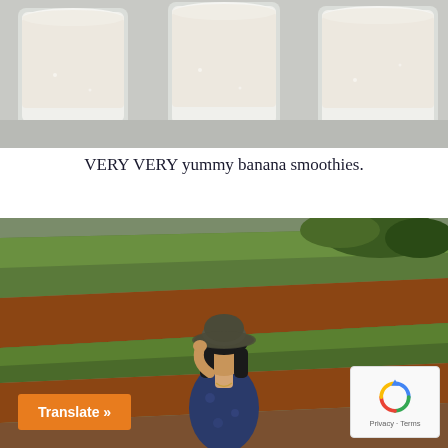[Figure (photo): Three glass mugs filled with creamy white banana smoothie, placed side by side on a light-colored surface.]
VERY VERY yummy banana smoothies.
[Figure (photo): A woman wearing a bucket hat standing in front of terraced hillside with red-brown soil and green grass. She is wearing a floral blue outfit and touching the brim of her hat.]
Translate »